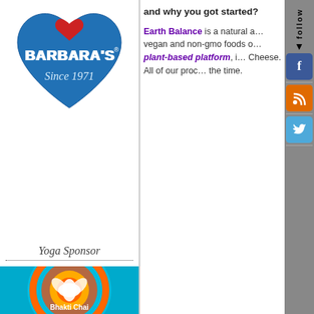[Figure (logo): Barbara's brand logo — blue speech-bubble heart shape with white text 'BARBARA'S Since 1971' and a red heart on top]
and why you got started?
Earth Balance is a natural and vegan and non-gmo foods on a plant-based platform, including Cheese. All of our products at the time.
Yoga Sponsor
[Figure (photo): Bhakti Chai colorful mandala-style product image with text 'Bhakti Chai']